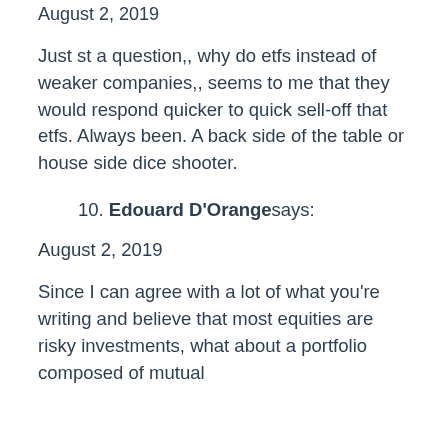August 2, 2019
Just st a question,, why do etfs instead of weaker companies,, seems to me that they would respond quicker to quick sell-off that etfs. Always been. A back side of the table or house side dice shooter.
10. Edouard D'Orange says:
August 2, 2019
Since I can agree with a lot of what you're writing and believe that most equities are risky investments, what about a portfolio composed of mutual